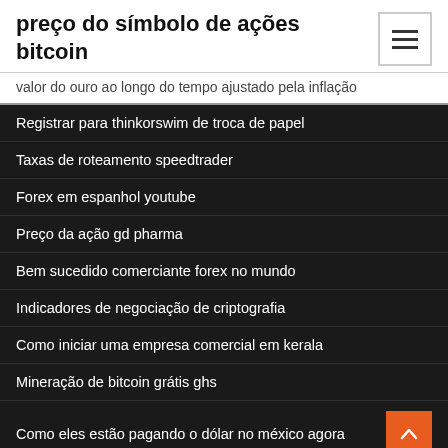preço do símbolo de ações bitcoin
valor do ouro ao longo do tempo ajustado pela inflação
Registrar para thinkorswim de troca de papel
Taxas de roteamento speedtrader
Forex em espanhol youtube
Preço da ação gd pharma
Bem sucedido comerciante forex no mundo
Indicadores de negociação de criptografia
Como iniciar uma empresa comercial em kerala
Mineração de bitcoin grátis ghs
Como eles estão pagando o dólar no méxico agora
Melhor aplicativo forex cingapura